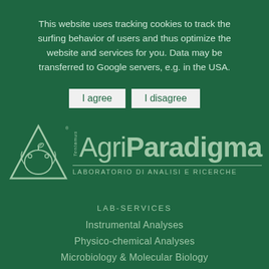This website uses tracking cookies to track the surfing behavior of users and thus optimize the website and services for you. Data may be transferred to Google servers, e.g. in the USA.
I agree   I disagree
[Figure (logo): AgriParadigma logo with triangular emblem containing a frog and apple, text reads Tentamus Agri Paradigma LABORATORIO DI ANALISI E RICERCHE]
LAB-SERVICES
Instrumental Analyses
Physico-chemical Analyses
Microbiology & Molecular Biology
Organic micropollutants